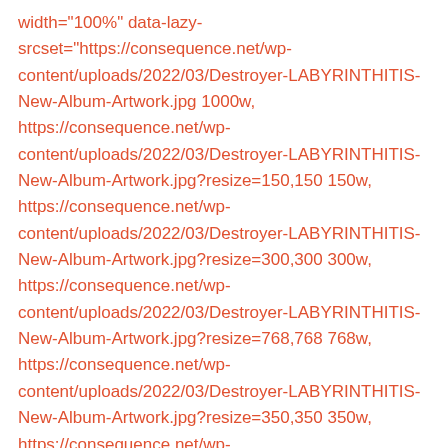width="100%" data-lazy-srcset="https://consequence.net/wp-content/uploads/2022/03/Destroyer-LABYRINTHITIS-New-Album-Artwork.jpg 1000w, https://consequence.net/wp-content/uploads/2022/03/Destroyer-LABYRINTHITIS-New-Album-Artwork.jpg?resize=150,150 150w, https://consequence.net/wp-content/uploads/2022/03/Destroyer-LABYRINTHITIS-New-Album-Artwork.jpg?resize=300,300 300w, https://consequence.net/wp-content/uploads/2022/03/Destroyer-LABYRINTHITIS-New-Album-Artwork.jpg?resize=768,768 768w, https://consequence.net/wp-content/uploads/2022/03/Destroyer-LABYRINTHITIS-New-Album-Artwork.jpg?resize=350,350 350w, https://consequence.net/wp-